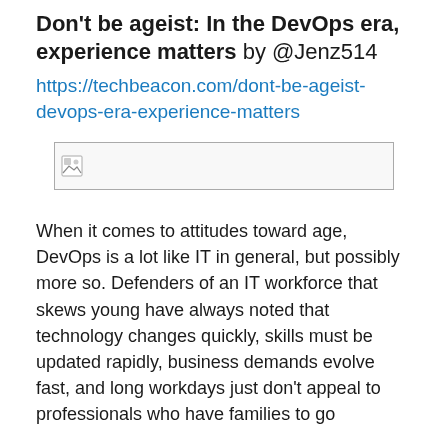Don't be ageist: In the DevOps era, experience matters by @Jenz514
https://techbeacon.com/dont-be-ageist-devops-era-experience-matters
[Figure (other): Broken/placeholder image box with a small image icon in the top-left corner]
When it comes to attitudes toward age, DevOps is a lot like IT in general, but possibly more so. Defenders of an IT workforce that skews young have always noted that technology changes quickly, skills must be updated rapidly, business demands evolve fast, and long workdays just don't appeal to professionals who have families to go